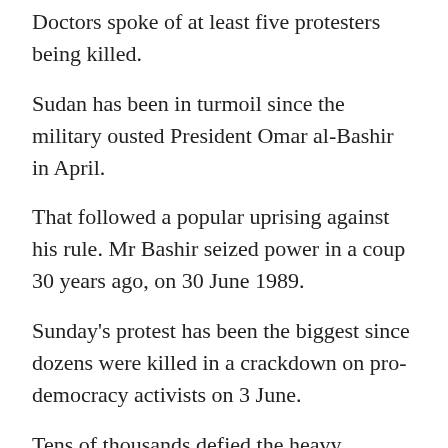Doctors spoke of at least five protesters being killed.
Sudan has been in turmoil since the military ousted President Omar al-Bashir in April.
That followed a popular uprising against his rule. Mr Bashir seized power in a coup 30 years ago, on 30 June 1989.
Sunday's protest has been the biggest since dozens were killed in a crackdown on pro-democracy activists on 3 June.
Tens of thousands defied the heavy presence of troops to demand that the ruling military council hand power to a civilian-led administration.
The Central Committee of Sudan Doctors said four people were killed in Khartoum's twin city of Omdurman, while one protester died after being hit...